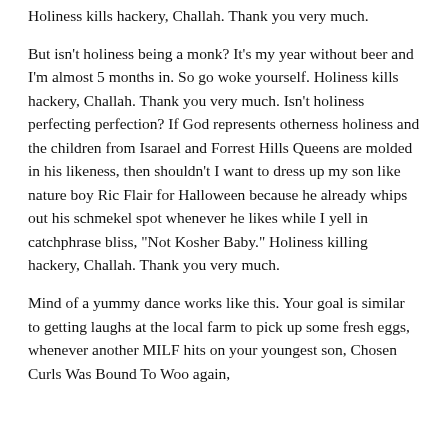Holiness kills hackery, Challah. Thank you very much.
But isn't holiness being a monk? It's my year without beer and I'm almost 5 months in. So go woke yourself. Holiness kills hackery, Challah. Thank you very much. Isn't holiness perfecting perfection? If God represents otherness holiness and the children from Isarael and Forrest Hills Queens are molded in his likeness, then shouldn't I want to dress up my son like nature boy Ric Flair for Halloween because he already whips out his schmekel spot whenever he likes while I yell in catchphrase bliss, "Not Kosher Baby." Holiness killing hackery, Challah. Thank you very much.
Mind of a yummy dance works like this. Your goal is similar to getting laughs at the local farm to pick up some fresh eggs, whenever another MILF hits on your youngest son, Chosen Curls Was Bound To Woo again,